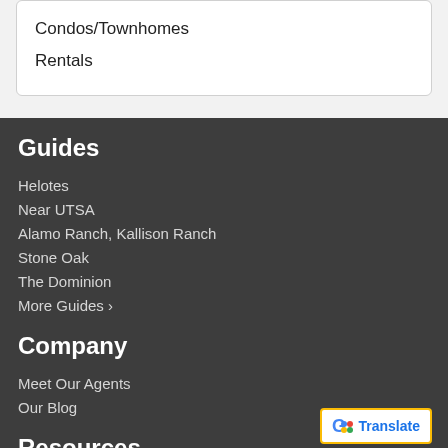Condos/Townhomes
Rentals
Guides
Helotes
Near UTSA
Alamo Ranch, Kallison Ranch
Stone Oak
The Dominion
More Guides ›
Company
Meet Our Agents
Our Blog
Resources
[Figure (logo): Google Translate button with multicolor G logo and blue Translate text]